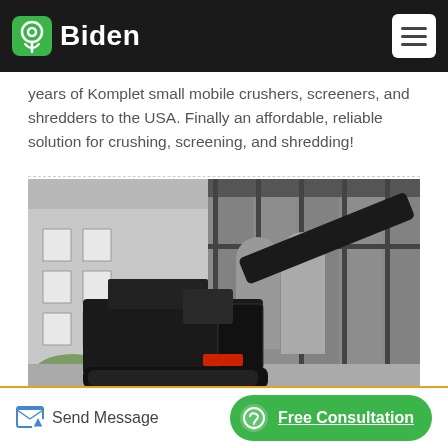Biden
years of Komplet small mobile crushers, screeners, and shredders to the USA. Finally an affordable, reliable solution for crushing, screening, and shredding!
[Figure (photo): A black mobile jaw crusher machine on tracks parked in front of an industrial building with large silos and metal framework structure. The machine has a conveyor belt angled upward.]
Send Message
Free Consultation